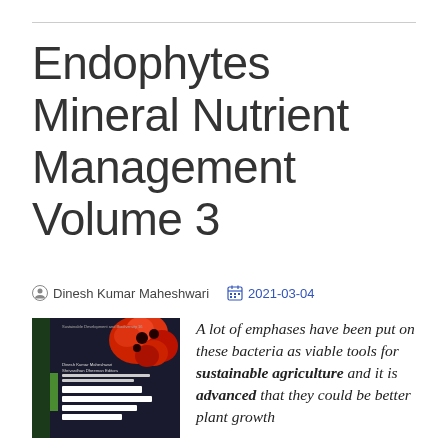Endophytes Mineral Nutrient Management Volume 3
Dinesh Kumar Maheshwari   2021-03-04
[Figure (illustration): Book cover of Endophytes: Mineral Nutrient Management, Volume 3, showing red flowers on dark background with green and white design elements, authored by Dinesh Kumar Maheshwari and Shrivardhan Dheeman.]
A lot of emphases have been put on these bacteria as viable tools for sustainable agriculture and it is advanced that they could be better plant growth